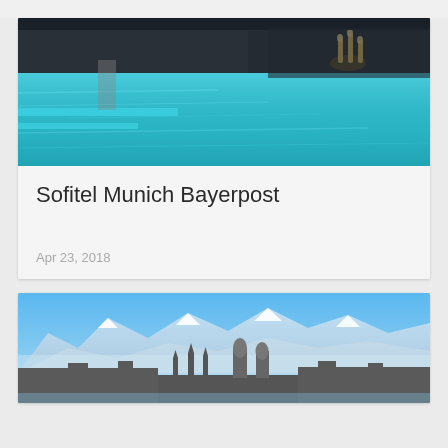[Figure (photo): Indoor spa pool with blue water, candlelight, and dark mosaic tiles]
Sofitel Munich Bayerpost
Apr 23, 2018
[Figure (photo): Munich city skyline with Frauenkirche towers and Alps in background under blue sky]